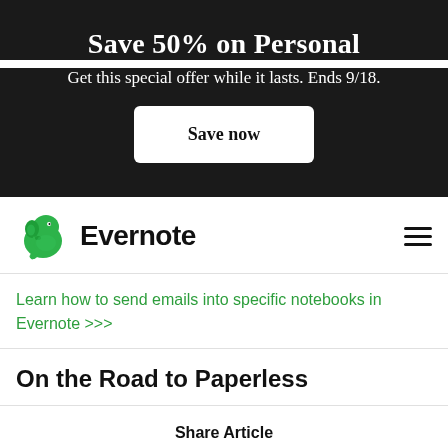Save 50% on Personal
Get this special offer while it lasts. Ends 9/18.
Save now
[Figure (logo): Evernote elephant logo and wordmark]
Learn how to send emails into specific notebooks in Evernote >>>
On the Road to Paperless
Share Article